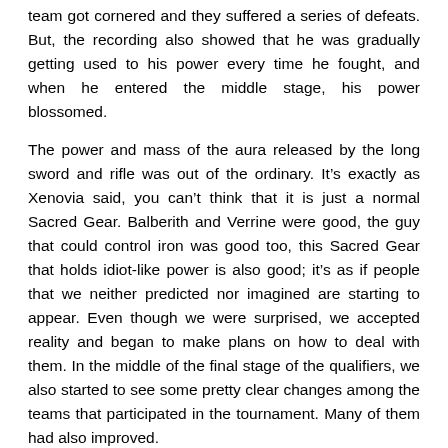team got cornered and they suffered a series of defeats. But, the recording also showed that he was gradually getting used to his power every time he fought, and when he entered the middle stage, his power blossomed.
The power and mass of the aura released by the long sword and rifle was out of the ordinary. It’s exactly as Xenovia said, you can’t think that it is just a normal Sacred Gear. Balberith and Verrine were good, the guy that could control iron was good too, this Sacred Gear that holds idiot-like power is also good; it’s as if people that we neither predicted nor imagined are starting to appear. Even though we were surprised, we accepted reality and began to make plans on how to deal with them. In the middle of the final stage of the qualifiers, we also started to see some pretty clear changes among the teams that participated in the tournament. Many of them had also improved.
“Ufufu, maybe the rumour is right”
The one who whispered that, was a pink-haired onee-sama